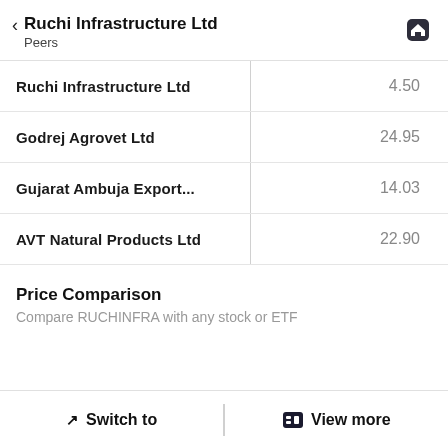Ruchi Infrastructure Ltd
Peers
|  |  |
| --- | --- |
| Ruchi Infrastructure Ltd | 4.50 |
| Godrej Agrovet Ltd | 24.95 |
| Gujarat Ambuja Export... | 14.03 |
| AVT Natural Products Ltd | 22.90 |
Price Comparison
Compare RUCHINFRA with any stock or ETF
Switch to   View more